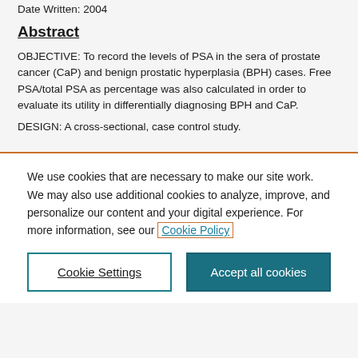Date Written: 2004
Abstract
OBJECTIVE: To record the levels of PSA in the sera of prostate cancer (CaP) and benign prostatic hyperplasia (BPH) cases. Free PSA/total PSA as percentage was also calculated in order to evaluate its utility in differentially diagnosing BPH and CaP.
DESIGN: A cross-sectional, case control study.
We use cookies that are necessary to make our site work. We may also use additional cookies to analyze, improve, and personalize our content and your digital experience. For more information, see our Cookie Policy
Cookie Settings
Accept all cookies